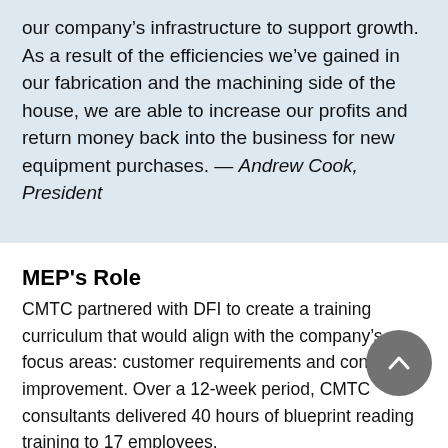our company's infrastructure to support growth. As a result of the efficiencies we've gained in our fabrication and the machining side of the house, we are able to increase our profits and return money back into the business for new equipment purchases. — Andrew Cook, President
MEP's Role
CMTC partnered with DFI to create a training curriculum that would align with the company's focus areas: customer requirements and continuous improvement. Over a 12-week period, CMTC consultants delivered 40 hours of blueprint reading training to 17 employees.
CMTC helped DFI access California Employment Training